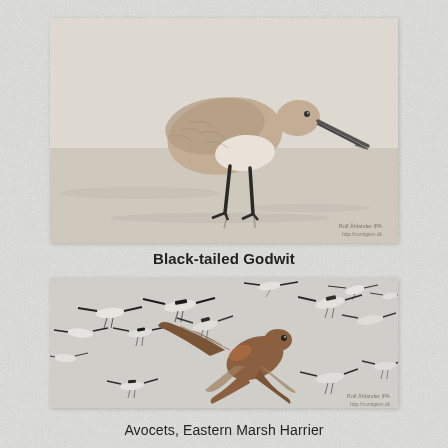[Figure (photo): A Black-tailed Godwit wading bird standing on a wet sandy beach, probing the sand with its long bill. The bird has brownish-grey plumage and long dark legs. Soft blurred background of water and sand.]
Black-tailed Godwit
[Figure (photo): A flock of Avocets in flight with an Eastern Marsh Harrier visible among them. The avocets are white with black wing markings and long legs trailing behind. The harrier is a larger brown bird with spread wings and tail, flying among the flock.]
Avocets, Eastern Marsh Harrier